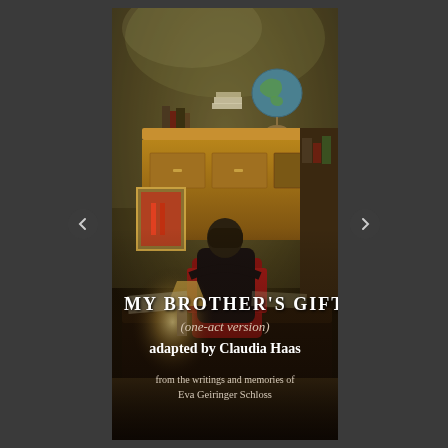[Figure (illustration): Book cover illustration: an oil painting style image showing a person seen from behind, seated at a large wooden desk/bureau with books and papers, a globe on top, a lamp glowing warmly, a red chair, a framed picture on the wall to the left, in a dark atmospheric interior setting.]
MY BROTHER'S GIFT
(one-act version)
adapted by Claudia Haas
from the writings and memories of Eva Geiringer Schloss